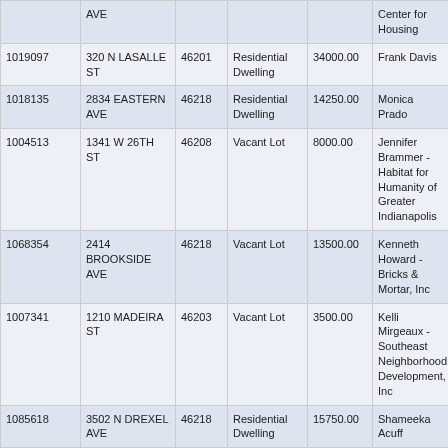|  | AVE |  |  |  | Center for Housing |
| --- | --- | --- | --- | --- | --- |
| 1019097 | 320 N LASALLE ST | 46201 | Residential Dwelling | 34000.00 | Frank Davis |
| 1018135 | 2834 EASTERN AVE | 46218 | Residential Dwelling | 14250.00 | Monica Prado |
| 1004513 | 1341 W 26TH ST | 46208 | Vacant Lot | 8000.00 | Jennifer Brammer - Habitat for Humanity of Greater Indianapolis |
| 1068354 | 2414 BROOKSIDE AVE | 46218 | Vacant Lot | 13500.00 | Kenneth Howard - Bricks & Mortar, Inc |
| 1007341 | 1210 MADEIRA ST | 46203 | Vacant Lot | 3500.00 | Kelli Mirgeaux - Southeast Neighborhood Development, Inc |
| 1085618 | 3502 N DREXEL AVE | 46218 | Residential Dwelling | 15750.00 | Shameeka Acuff |